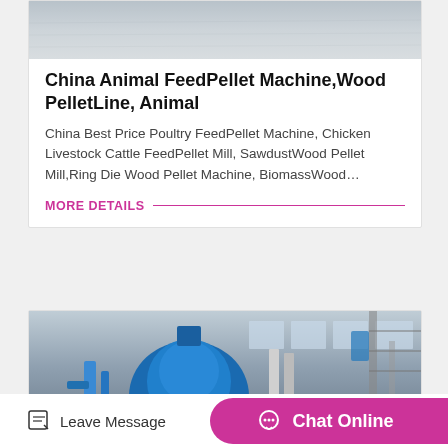[Figure (photo): Partial top of industrial machine or surface, gray textured background]
China Animal FeedPellet Machine,Wood PelletLine, Animal
China Best Price Poultry FeedPellet Machine, Chicken Livestock Cattle FeedPellet Mill, SawdustWood Pellet Mill,Ring Die Wood Pellet Machine, BiomassWood…
MORE DETAILS
[Figure (photo): Industrial factory interior with large blue pellet machine/mill equipment, scaffolding, and warehouse windows in background]
Leave Message
Chat Online